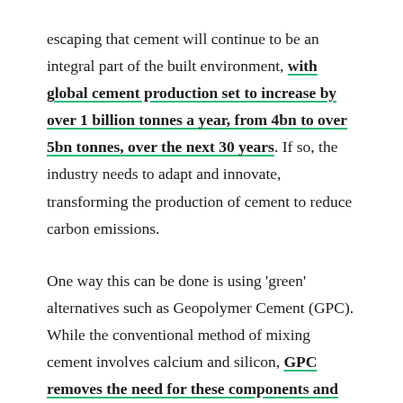escaping that cement will continue to be an integral part of the built environment, with global cement production set to increase by over 1 billion tonnes a year, from 4bn to over 5bn tonnes, over the next 30 years. If so, the industry needs to adapt and innovate, transforming the production of cement to reduce carbon emissions.

One way this can be done is using 'green' alternatives such as Geopolymer Cement (GPC). While the conventional method of mixing cement involves calcium and silicon, GPC removes the need for these components and instead uses industrial waste materials such as fly ash which is then